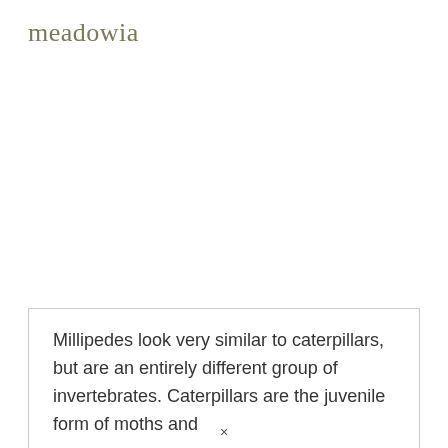meadowia
Millipedes look very similar to caterpillars, but are an entirely different group of invertebrates. Caterpillars are the juvenile form of moths and